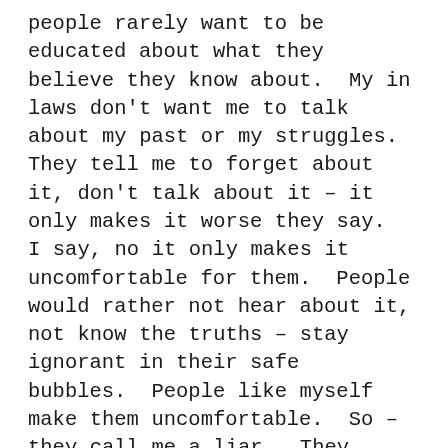people rarely want to be educated about what they believe they know about.  My in laws don't want me to talk about my past or my struggles.  They tell me to forget about it, don't talk about it – it only makes it worse they say.  I say, no it only makes it uncomfortable for them.  People would rather not hear about it, not know the truths – stay ignorant in their safe bubbles.  People like myself make them uncomfortable.  So – they call me a liar.  They whisper among themselves instead of talking to the one person that could clear up any questions they may have.  I have always been an open book – but rarely am I picked up and truly read and understood.  So this question of believing or not believing is a very sensitive one.  I ask – what is it that I have said that would make you not believe me?  Usually it's just that it's so unbelievable one could treat another